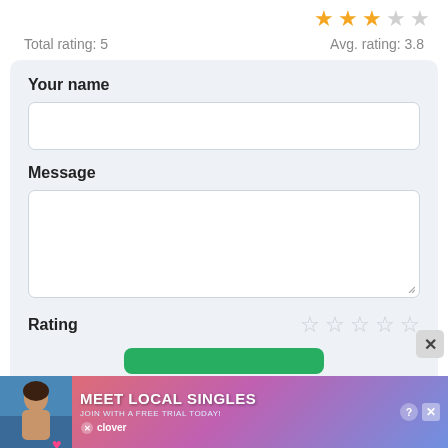[Figure (other): Star rating display showing 3 filled gold stars and 2 empty/grey stars]
Total rating: 5    Avg. rating: 3.8
Your name
[Figure (other): Empty text input field for name]
Message
[Figure (other): Empty textarea input field for message with resize handle]
Rating
[Figure (other): 5 empty star outlines for rating input]
[Figure (other): Green submit button (partially visible)]
[Figure (other): Advertisement banner: MEET LOCAL SINGLES - Clover dating app ad with woman photo and hearts]